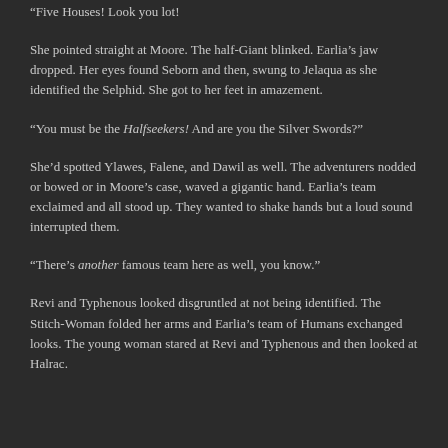“Five Houses! Look you lot!
She pointed straight at Moore. The half-Giant blinked. Earlia’s jaw dropped. Her eyes found Seborn and then, swung to Jelaqua as she identified the Selphid. She got to her feet in amazement.
“You must be the Halfseekers! And are you the Silver Swords?”
She’d spotted Ylawes, Falene, and Dawil as well. The adventurers nodded or bowed or in Moore’s case, waved a gigantic hand. Earlia’s team exclaimed and all stood up. They wanted to shake hands but a loud sound interrupted them.
“There’s another famous team here as well, you know.”
Revi and Typhenous looked disgruntled at not being identified. The Stitch-Woman folded her arms and Earlia’s team of Humans exchanged looks. The young woman stared at Revi and Typhenous and then looked at Halrac.